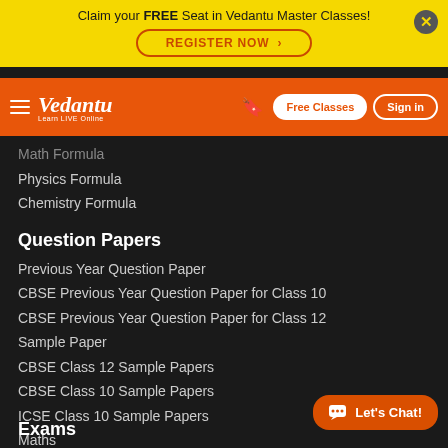Claim your FREE Seat in Vedantu Master Classes! REGISTER NOW
[Figure (logo): Vedantu logo with 'Learn LIVE Online' tagline on orange navbar with Free Classes and Sign in buttons]
Math Formula
Physics Formula
Chemistry Formula
Question Papers
Previous Year Question Paper
CBSE Previous Year Question Paper for Class 10
CBSE Previous Year Question Paper for Class 12
Sample Paper
CBSE Class 12 Sample Papers
CBSE Class 10 Sample Papers
ICSE Class 10 Sample Papers
Maths
Physics
Chemistry
Biology
Practice Questions
Exams